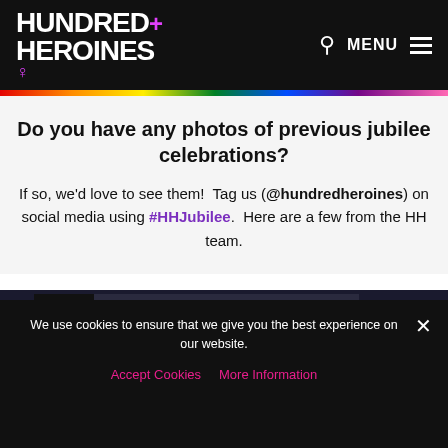HUNDRED+ HEROINES — navigation header with search and menu
Do you have any photos of previous jubilee celebrations?
If so, we'd love to see them!  Tag us (@hundredheroines) on social media using #HHJubilee.  Here are a few from the HH team.
[Figure (photo): Dark photograph showing a storefront or display with the text WALLACE HEATON visible]
We use cookies to ensure that we give you the best experience on our website.
Accept Cookies   More Information